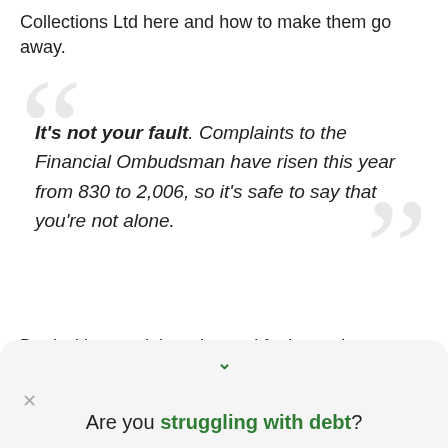Collections Ltd here and how to make them go away.
It's not your fault. Complaints to the Financial Ombudsman have risen this year from 830 to 2,006, so it's safe to say that you're not alone.
Deal with your debt today and feel amazing tomorrow.
Are you struggling with debt?